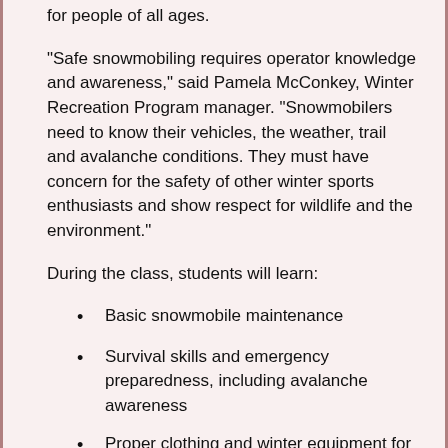for people of all ages.
“Safe snowmobiling requires operator knowledge and awareness,” said Pamela McConkey, Winter Recreation Program manager. “Snowmobilers need to know their vehicles, the weather, trail and avalanche conditions. They must have concern for the safety of other winter sports enthusiasts and show respect for wildlife and the environment.”
During the class, students will learn:
Basic snowmobile maintenance
Survival skills and emergency preparedness, including avalanche awareness
Proper clothing and winter equipment for snowmobiling
Hand signals for riders
There will also be a riding skills test.
A note to reading: text is cut off for page boundary.